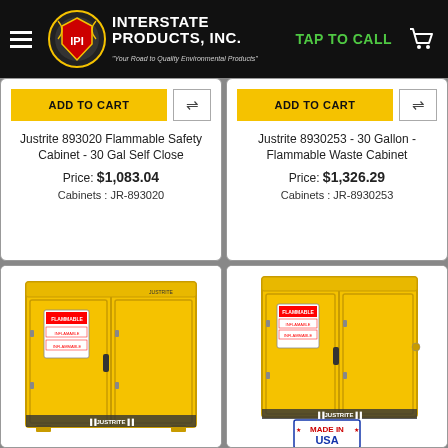Interstate Products, Inc. — TAP TO CALL
Justrite 893020 Flammable Safety Cabinet - 30 Gal Self Close
Price: $1,083.04
Cabinets : JR-893020
Justrite 8930253 - 30 Gallon - Flammable Waste Cabinet
Price: $1,326.29
Cabinets : JR-8930253
[Figure (photo): Yellow Justrite 30-gallon flammable safety cabinet with two doors and warning labels]
[Figure (photo): Yellow Justrite 30-gallon flammable waste cabinet with two doors, warning labels, and MADE IN USA badge]